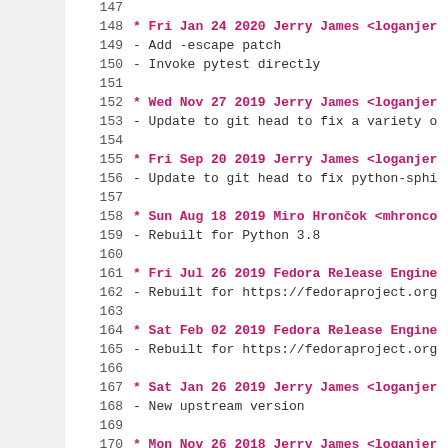147
148 * Fri Jan 24 2020 Jerry James <loganjem...
149 - Add -escape patch
150 - Invoke pytest directly
151
152 * Wed Nov 27 2019 Jerry James <loganjem...
153 - Update to git head to fix a variety o...
154
155 * Fri Sep 20 2019 Jerry James <loganjem...
156 - Update to git head to fix python-sphi...
157
158 * Sun Aug 18 2019 Miro Hrončok <mhronco...
159 - Rebuilt for Python 3.8
160
161 * Fri Jul 26 2019 Fedora Release Engine...
162 - Rebuilt for https://fedoraproject.org...
163
164 * Sat Feb 02 2019 Fedora Release Engine...
165 - Rebuilt for https://fedoraproject.org...
166
167 * Sat Jan 26 2019 Jerry James <loganjem...
168 - New upstream version
169
170 * Mon Nov 26 2018 Jerry James <loganjem...